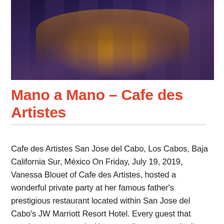[Figure (photo): Restaurant interior with a long dining table set for a formal dinner, warm candlelight and amber lighting, upholstered chairs, teal glassware, dark moody ambiance with purple and gold tones.]
Mano a Mano – Cafe des Artistes
Cafe des Artistes San Jose del Cabo, Los Cabos, Baja California Sur, México On Friday, July 19, 2019, Vanessa Blouet of Cafe des Artistes, hosted a wonderful private party at her famous father's prestigious restaurant located within San Jose del Cabo's JW Marriott Resort Hotel. Every guest that evening was greeted with a complimentary cocktail [...]  read more